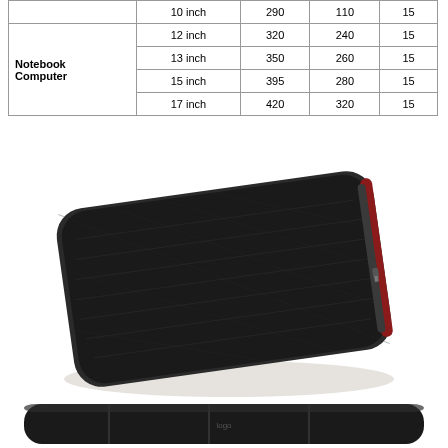|  |  |  |  |  |
| --- | --- | --- | --- | --- |
|  | 10 inch | 290 | 110 | 15 |
| Notebook Computer | 12 inch | 320 | 240 | 15 |
|  | 13 inch | 350 | 260 | 15 |
|  | 15 inch | 395 | 280 | 15 |
|  | 17 inch | 420 | 320 | 15 |
[Figure (photo): A black laptop sleeve/case photographed at an angle on a white background, showing zipper on the right side and textured fabric surface]
[Figure (photo): Bottom portion of a black laptop sleeve/case showing interior compartments and a logo, photographed from above]